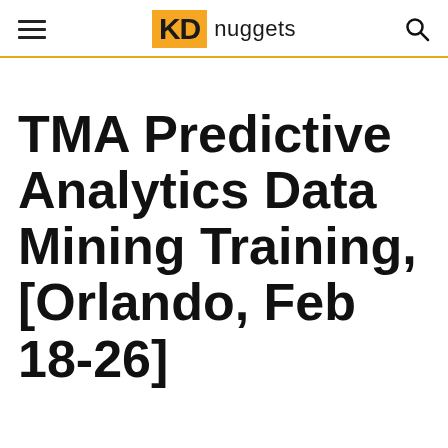KD nuggets
TMA Predictive Analytics Data Mining Training, [Orlando, Feb 18-26]